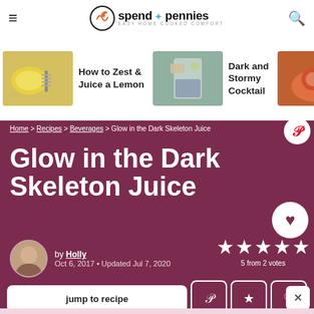spend with pennies — EASY HOME COOKED COMFORT
[Figure (photo): Food image strip showing: lemon with zester (How to Zest & Juice a Lemon), cocktail with ice (Dark and Stormy Cocktail), red drink (Party...)]
How to Zest & Juice a Lemon
Dark and Stormy Cocktail
Party
Home > Recipes > Beverages > Glow in the Dark Skeleton Juice
Glow in the Dark Skeleton Juice
by Holly
Oct 6, 2017 • Updated Jul 7, 2020
5 from 2 votes
jump to recipe